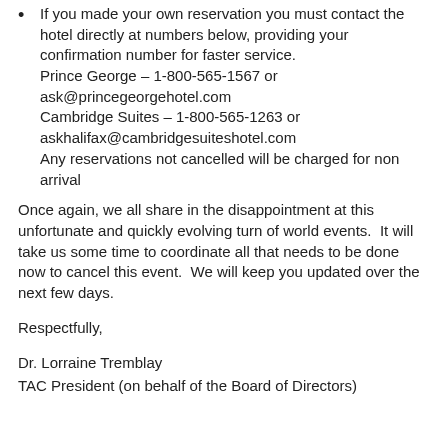If you made your own reservation you must contact the hotel directly at numbers below, providing your confirmation number for faster service. Prince George – 1-800-565-1567 or ask@princegeorgehotel.com Cambridge Suites – 1-800-565-1263 or askhalifax@cambridgesuiteshotel.com Any reservations not cancelled will be charged for non arrival
Once again, we all share in the disappointment at this unfortunate and quickly evolving turn of world events.  It will take us some time to coordinate all that needs to be done now to cancel this event.  We will keep you updated over the next few days.
Respectfully,
Dr. Lorraine Tremblay
TAC President (on behalf of the Board of Directors)